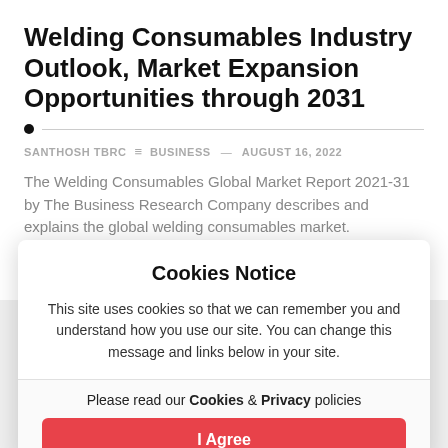Welding Consumables Industry Outlook, Market Expansion Opportunities through 2031
SANTHOSH TBRC  BUSINESS  AUGUST 16, 2022
The Welding Consumables Global Market Report 2021-31 by The Business Research Company describes and explains the global welding consumables market.
Cookies Notice
This site uses cookies so that we can remember you and understand how you use our site. You can change this message and links below in your site.
Please read our Cookies & Privacy policies
I Agree